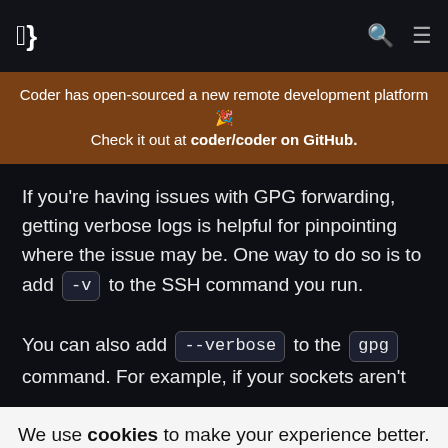Coder (navigation bar with logo, search icon, and menu icon)
Coder has open-sourced a new remote development platform 🎉 Check it out at coder/coder on GitHub.
If you're having issues with GPG forwarding, getting verbose logs is helpful for pinpointing where the issue may be. One way to do so is to add -v to the SSH command you run.

You can also add --verbose to the gpg command. For example, if your sockets aren't
We use cookies to make your experience better.
Privacy Policy
OK